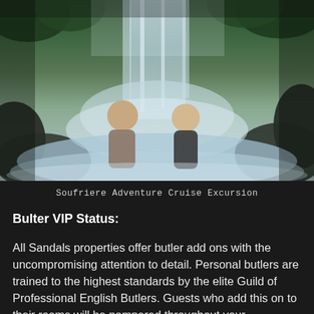[Figure (photo): Two people standing under a waterfall in a tropical outdoor setting. A man and a woman in swimwear enjoying the waterfall spray, with green vegetation and rocks in the background.]
Soufriere Adventure Cruise Excursion
Bulter VIP Status:
All Sandals properties offer butler add ons with the uncompromising attention to detail. Personal butlers are trained to the highest standards by the elite Guild of Professional English Butlers. Guests who add this on to their rooms will be pampered throughout your